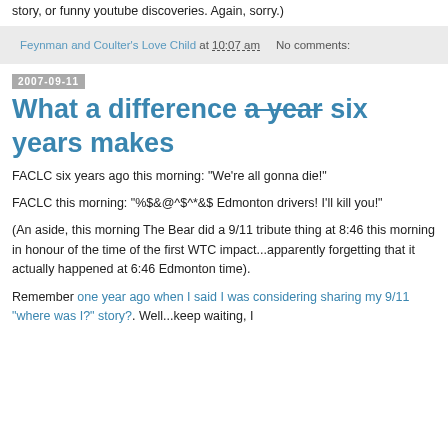story, or funny youtube discoveries. Again, sorry.)
Feynman and Coulter's Love Child at 10:07 am   No comments:
2007-09-11
What a difference a year six years makes
FACLC six years ago this morning: "We're all gonna die!"
FACLC this morning: "%$&@^$^*&$ Edmonton drivers! I'll kill you!"
(An aside, this morning The Bear did a 9/11 tribute thing at 8:46 this morning in honour of the time of the first WTC impact...apparently forgetting that it actually happened at 6:46 Edmonton time).
Remember one year ago when I said I was considering sharing my 9/11 "where was I?" story?. Well...keep waiting, I